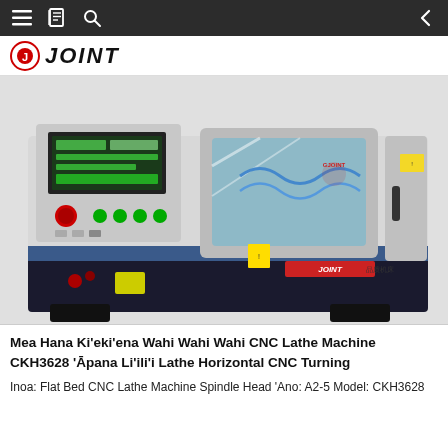Navigation bar with menu, book, search icons and back arrow
[Figure (logo): JOINT brand logo with circular red icon and italic bold text JOINT]
[Figure (photo): CKH3628 Flat Bed CNC Lathe Machine by JOINT, showing control panel on left, viewing window in center, and JOINT branding on right side of white/grey machine body with dark base]
Mea Hana Kiʻekiʻena Wahi Wahi Wahi CNC Lathe Machine CKH3628 ʻApana Liʻiliʻi Lathe Horizontal CNC Turning
Inoa: Flat Bed CNC Lathe Machine Spindle Head ʻAno: A2-5 Model: CKH3628